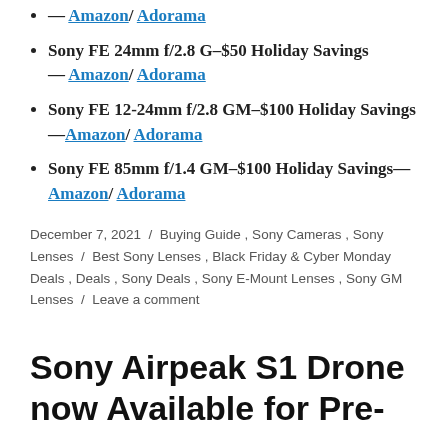— Amazon/ Adorama
Sony FE 24mm f/2.8 G–$50 Holiday Savings — Amazon/ Adorama
Sony FE 12-24mm f/2.8 GM–$100 Holiday Savings—Amazon/ Adorama
Sony FE 85mm f/1.4 GM–$100 Holiday Savings— Amazon/ Adorama
December 7, 2021 / Buying Guide, Sony Cameras, Sony Lenses / Best Sony Lenses, Black Friday & Cyber Monday Deals, Deals, Sony Deals, Sony E-Mount Lenses, Sony GM Lenses / Leave a comment
Sony Airpeak S1 Drone now Available for Pre-